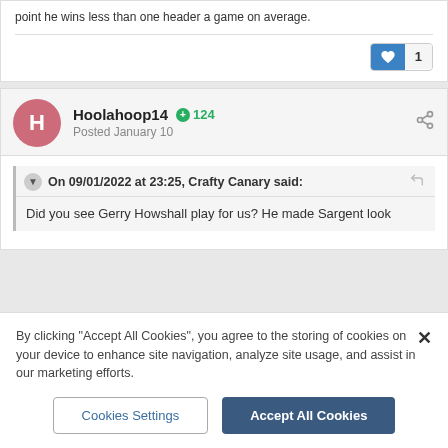point he wins less than one header a game on average.
1
Hoolahoop14  124
Posted January 10
On 09/01/2022 at 23:25, Crafty Canary said:
Did you see Gerry Howshall play for us? He made Sargent look
By clicking "Accept All Cookies", you agree to the storing of cookies on your device to enhance site navigation, analyze site usage, and assist in our marketing efforts.
Cookies Settings
Accept All Cookies